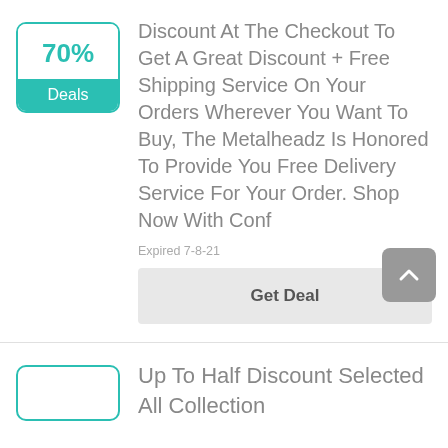[Figure (other): Deal badge showing 70% in teal color with 'Deals' label on teal background, inside a rounded border box]
Discount At The Checkout To Get A Great Discount + Free Shipping Service On Your Orders Wherever You Want To Buy, The Metalheadz Is Honored To Provide You Free Delivery Service For Your Order. Shop Now With Conf
Expired 7-8-21
Get Deal
[Figure (other): Empty teal-bordered rounded badge box (partially visible at bottom)]
Up To Half Discount Selected All Collection